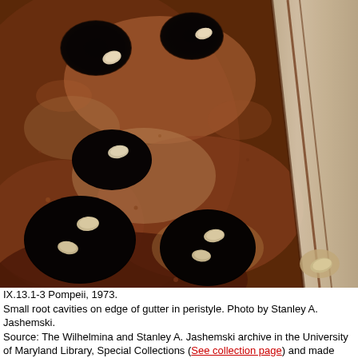[Figure (photo): Archaeological photograph from Pompeii, 1973. Close-up view of small root cavities on the edge of a gutter in a peristyle. The image shows dark circular cavities with white oval-shaped stones or markers in reddish-brown soil. A pale stone gutter channel runs diagonally along the right side.]
IX.13.1-3 Pompeii, 1973. Small root cavities on edge of gutter in peristyle. Photo by Stanley A. Jashemski. Source: The Wilhelmina and Stanley A. Jashemski archive in the University of Maryland Library, Special Collections (See collection page) and made available under the Creative Commons Attribution-Non-Commercial License v.4. See Licence and use details. 173f0647